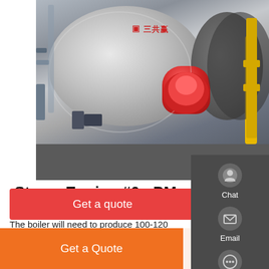[Figure (photo): Industrial steam boiler/engine equipment in a facility. Large cylindrical horizontal boiler with a red burner attachment, yellow gas pipes, and additional boiler unit visible on the right. Industrial floor setting.]
Steam Engine #6 - PM Research
The boiler will need to produce 100-120 PSI to operate this engine. I will attach a sheet on boiler sizing. Here is a link to Don who has done an excellent job of documenting his build of his own boiler to operate the 6CI, his build of the 6CI and his build of ...
Get a quote
Get a Quote
WhatsApp